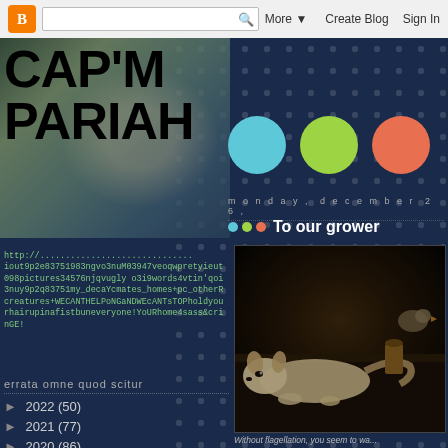B | [search] Q  More ▼  Create Blog  Sign In
CAP'M PARIAH
http://...iout9p2e83751983ngvo3nuM03947veoqwpretyieut098pictures34576njqvugly o3i9words4vtin'qoi3nuy9p2q83751my_decaYcmates_homes+pc_otherRcreatures+WECANTHELPoNGaNDWEcANTsTOPholdyourhairupinafistbuneveryone!YoURhome4sass&crinGE!
errata omne quod scitur
► 2022 (50)
► 2021 (77)
► 2020 (86)
► 2019 (49)
monday, december 26,
To our grower
[Figure (photo): Dark painting showing a dog or cat lying on a table with some objects, in an old master style painting]
Without flagellation, you seem to wa...